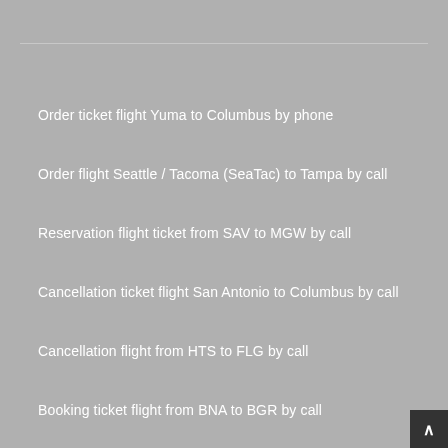Order ticket flight Yuma to Columbus by phone
Order flight Seattle / Tacoma (SeaTac) to Tampa by call
Reservation flight ticket from SAV to MGW by call
Cancellation ticket flight San Antonio to Columbus by call
Cancellation flight from HTS to FLG by call
Booking ticket flight from BNA to BGR by call